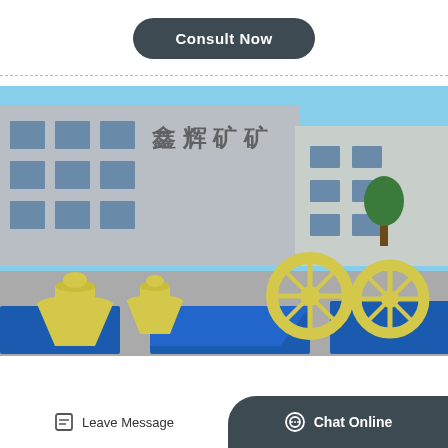[Figure (other): A dark rounded rectangle button labeled 'Consult Now' in white bold text on a dark slate/charcoal background]
[Figure (photo): Outdoor photograph of yellow industrial mining/crushing machines (cone crushers and wheel-type sand washers) parked on blue metal platforms in front of a large factory building with Chinese characters on the facade, under a clear blue sky]
Leave Message
Chat Online